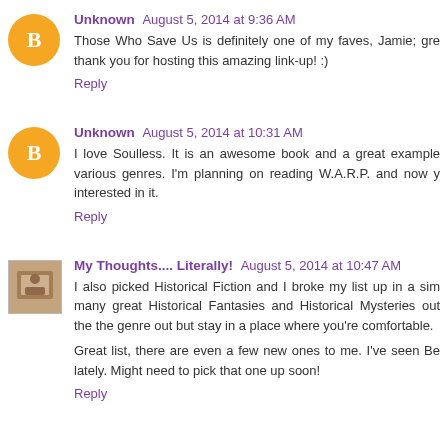Unknown  August 5, 2014 at 9:36 AM
Those Who Save Us is definitely one of my faves, Jamie; gre thank you for hosting this amazing link-up! :)
Reply
Unknown  August 5, 2014 at 10:31 AM
I love Soulless. It is an awesome book and a great example various genres. I'm planning on reading W.A.R.P. and now y interested in it.
Reply
My Thoughts.... Literally!  August 5, 2014 at 10:47 AM
I also picked Historical Fiction and I broke my list up in a sim many great Historical Fantasies and Historical Mysteries out the the genre out but stay in a place where you're comfortable.

Great list, there are even a few new ones to me. I've seen Be lately. Might need to pick that one up soon!
Reply